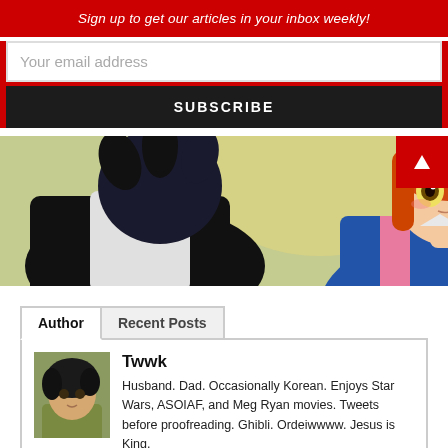Sign up to get our articles in your inbox weekly!
Your email address
SUBSCRIBE
[Figure (illustration): Anime scene showing two characters: a dark-haired male figure with back turned and a red/orange-haired female character with wide golden eyes looking upward, in an outdoor setting. A red button with a white up-arrow triangle is overlaid at top right.]
Author
Recent Posts
[Figure (illustration): Small avatar thumbnail of an anime-style dark-haired male character in a greenish outfit.]
Twwk
Husband. Dad. Occasionally Korean. Enjoys Star Wars, ASOIAF, and Meg Ryan movies. Tweets before proofreading. Ghibli. Ordeiwwww. Jesus is King.